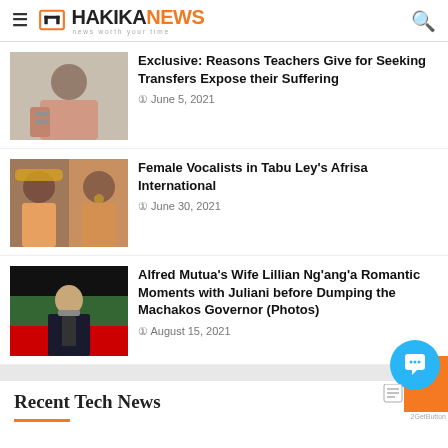HakikaNews - news worth your time
Exclusive: Reasons Teachers Give for Seeking Transfers Expose their Suffering
June 5, 2021
[Figure (photo): Woman wearing a mask speaking at a podium]
Female Vocalists in Tabu Ley's Afrisa International
June 30, 2021
[Figure (photo): Two women portrait collage]
Alfred Mutua's Wife Lillian Ng'ang'a Romantic Moments with Juliani before Dumping the Machakos Governor (Photos)
August 15, 2021
[Figure (photo): Man in suit speaking at microphone with Kenyan flag backdrop]
Recent Tech News